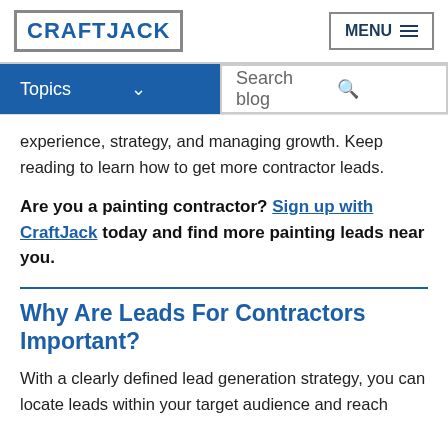CRAFTJACK | MENU
Topics | Search blog
experience, strategy, and managing growth. Keep reading to learn how to get more contractor leads.
Are you a painting contractor? Sign up with CraftJack today and find more painting leads near you.
Why Are Leads For Contractors Important?
With a clearly defined lead generation strategy, you can locate leads within your target audience and reach